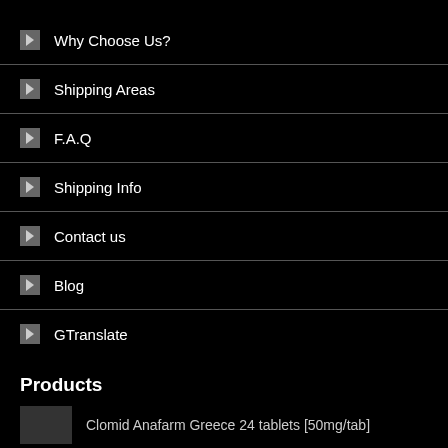Why Choose Us?
Shipping Areas
F.A.Q
Shipping Info
Contact us
Blog
GTranslate
Products
Clomid Anafarm Greece 24 tablets [50mg/tab]